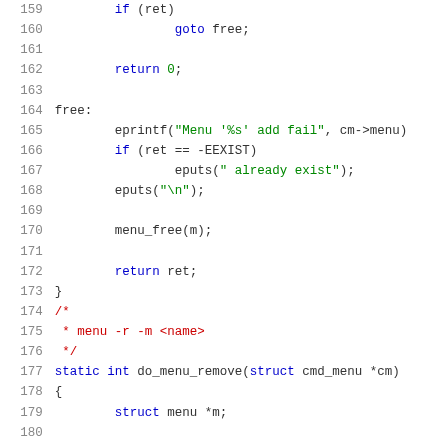Code listing lines 159-180: C source code showing function with goto, eprintf, eputs, menu_free, return statements, comment block, and do_menu_remove function declaration